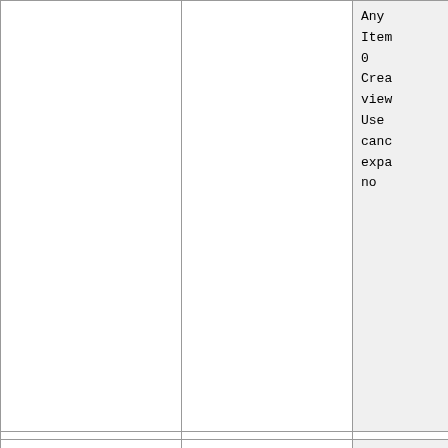| (col1) | (col2) | (col3) |
| --- | --- | --- |
|  |  | Any
Item
0
Create
view
Use
cancel
expand
no |
| NP_996224 | RefSeq_Ac | Taxon
Any
Item
1
Create
view
Use
cancel
expand
yes |
| Q7KSF4_DROME | UniProt_ID |  |
| 42066 | geneID |  |
|  |  |  |